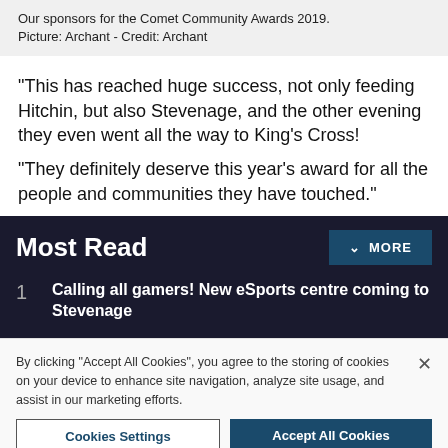Our sponsors for the Comet Community Awards 2019. Picture: Archant - Credit: Archant
“This has reached huge success, not only feeding Hitchin, but also Stevenage, and the other evening they even went all the way to King’s Cross!
“They definitely deserve this year’s award for all the people and communities they have touched.”
Most Read
1 Calling all gamers! New eSports centre coming to Stevenage
By clicking “Accept All Cookies”, you agree to the storing of cookies on your device to enhance site navigation, analyze site usage, and assist in our marketing efforts.
Cookies Settings | Accept All Cookies